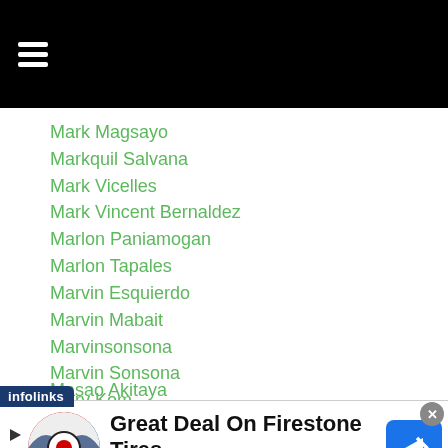Mark Magsayo
Markquil Salvana
Mark Vicelles
Mark Vincent Bernaldez
Marlon Paniamogan
Marlon Tapales
Marvin Esquierdo
Marvin Mabait
Marvinsonsona
Marvin Sonsona
Mary Kom
Masaaki Serie
Masao Akitaya
[Figure (screenshot): Advertisement banner: Great Deal On Firestone Tires - Virginia Tire & Auto of Ashburn F...]